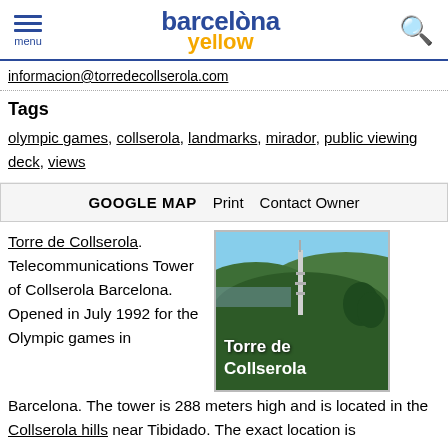barcelona yellow [logo] menu
informacion@torredecollserola.com
Tags
olympic games, collserola, landmarks, mirador, public viewing deck, views
GOOGLE MAP   Print   Contact Owner
Torre de Collserola. Telecommunications Tower of Collserola Barcelona. Opened in July 1992 for the Olympic games in Barcelona. The tower is 288 meters high and is located in the Collserola hills near Tibidado. The exact location is
[Figure (photo): Aerial photo of Torre de Collserola telecommunications tower on green Collserola hills with Barcelona in background. White text overlay reads 'Torre de Collserola'.]